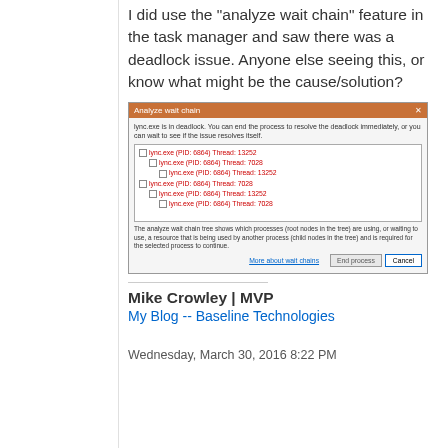I did use the 'analyze wait chain' feature in the task manager and saw there was a deadlock issue. Anyone else seeing this, or know what might be the cause/solution?
[Figure (screenshot): Windows Task Manager 'Analyze wait chain' dialog showing lync.exe deadlock with process tree entries for lync.exe (PID: 6864) Thread: 13252 and lync.exe (PID: 6864) Thread: 7028 repeated in a nested tree structure.]
Mike Crowley | MVP
My Blog -- Baseline Technologies
Wednesday, March 30, 2016 8:22 PM